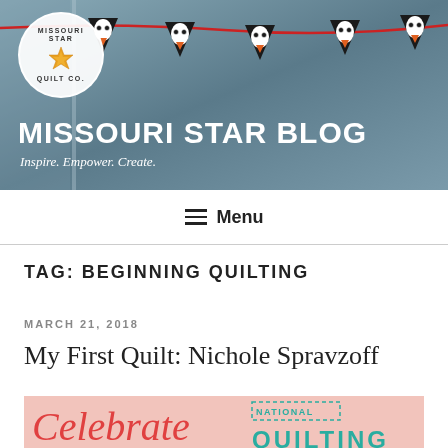[Figure (photo): Missouri Star Quilt Co. blog header banner with penguin banner garland on a string against a blurred blue-gray background. White circular logo in top left with a quilt star pattern. Large white bold text reads MISSOURI STAR BLOG with italic tagline Inspire. Empower. Create.]
≡ Menu
TAG: BEGINNING QUILTING
MARCH 21, 2018
My First Quilt: Nichole Spravzoff
[Figure (photo): Partial image showing a pink background with Celebrate written in red script lettering and NATIONAL QUILTING text in teal, partially visible at bottom of page]